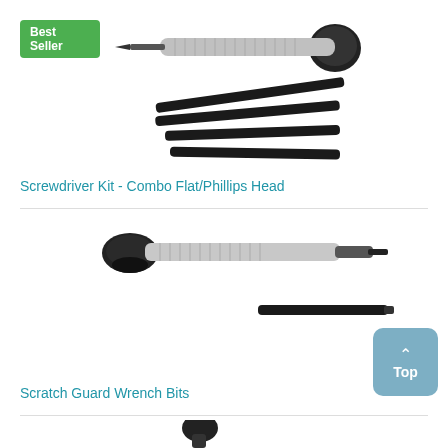[Figure (photo): Best Seller badge - green rounded rectangle label]
[Figure (photo): Screwdriver Kit - Combo Flat/Phillips Head product image showing a precision screwdriver with interchangeable bit tips]
Screwdriver Kit - Combo Flat/Phillips Head
[Figure (photo): Scratch Guard Wrench Bits product image showing a screwdriver-style tool with suction cup and extension bits]
Scratch Guard Wrench Bits
[Figure (photo): Partial image of a third product at bottom of page]
[Figure (other): Top navigation button - blue-grey rounded square with up arrow and 'Top' label]